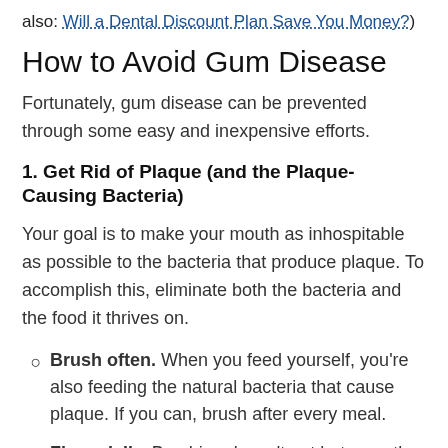also: Will a Dental Discount Plan Save You Money?)
How to Avoid Gum Disease
Fortunately, gum disease can be prevented through some easy and inexpensive efforts.
1. Get Rid of Plaque (and the Plaque-Causing Bacteria)
Your goal is to make your mouth as inhospitable as possible to the bacteria that produce plaque. To accomplish this, eliminate both the bacteria and the food it thrives on.
Brush often. When you feed yourself, you're also feeding the natural bacteria that cause plaque. If you can, brush after every meal.
Floss daily. Brushing doesn't get between the...